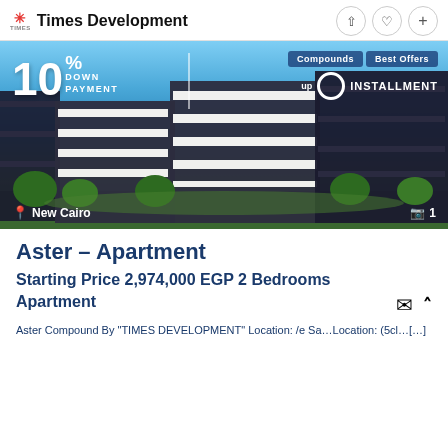Times Development
[Figure (photo): Apartment complex rendering with blue sky, modern multi-storey buildings surrounded by green trees. Overlay text: 10% DOWN PAYMENT | Compounds & Best Offers up to INSTALLMENT. Location: New Cairo. Image count: 1.]
Aster – Apartment
Starting Price 2,974,000 EGP 2 Bedrooms Apartment
Aster Compound By "TIMES DEVELOPMENT" Lo…/e Sa…Location: (5cl…[…]